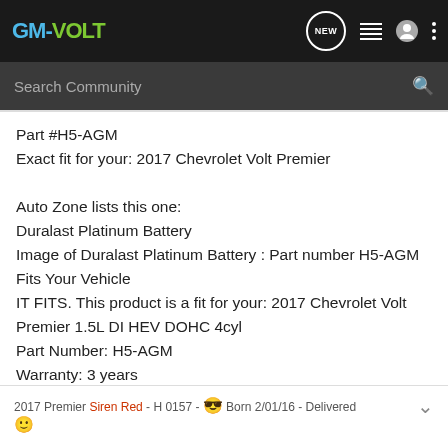[Figure (logo): GM-VOLT logo in nav bar, GM- in blue and VOLT in green]
Search Community
Part #H5-AGM
Exact fit for your: 2017 Chevrolet Volt Premier

Auto Zone lists this one:
Duralast Platinum Battery
Image of Duralast Platinum Battery : Part number H5-AGM Fits Your Vehicle
IT FITS. This product is a fit for your: 2017 Chevrolet Volt Premier 1.5L DI HEV DOHC 4cyl
Part Number: H5-AGM
Warranty: 3 years
2017 Premier Siren Red - H 0157 - 😎 Born 2/01/16 - Delivered 🙂